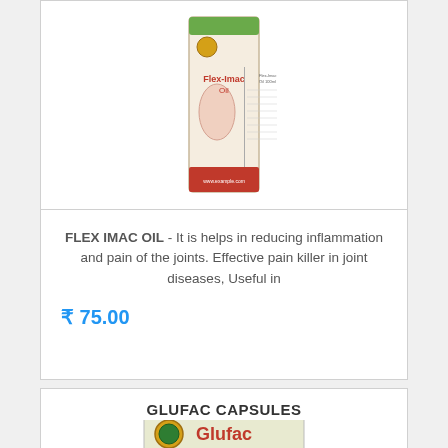[Figure (photo): Product photo of Flex-Imac Oil box, showing a person running motif on the packaging]
FLEX IMAC OIL - It is helps in reducing inflammation and pain of the joints. Effective pain killer in joint diseases, Useful in
₹ 75.00
GLUFAC CAPSULES
[Figure (photo): Product photo of Glufac Capsules box with green and orange design showing Glufac brand name]